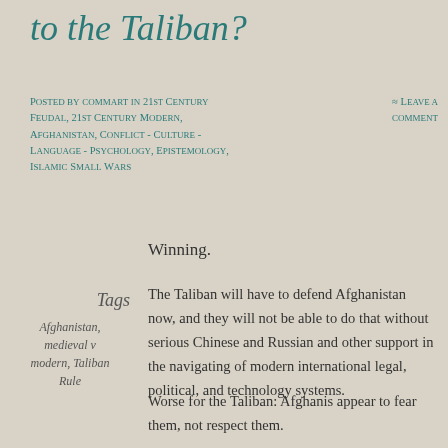to the Taliban?
Posted by commart in 21st Century Feudal, 21st Century Modern, Afghanistan, Conflict - Culture - Language - Psychology, Epistemology, Islamic Small Wars
≈ Leave a comment
Winning.
Tags
Afghanistan, medieval v modern, Taliban Rule
The Taliban will have to defend Afghanistan now, and they will not be able to do that without serious Chinese and Russian and other support in the navigating of modern international legal, political, and technology systems.
Worse for the Taliban: Afghanis appear to fear them, not respect them.